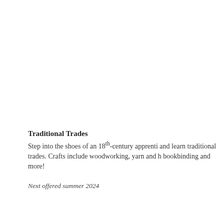Traditional Trades
Step into the shoes of an 18th-century apprentice and learn traditional trades. Crafts include woodworking, yarn and bookbinding and more!
Next offered summer 2024